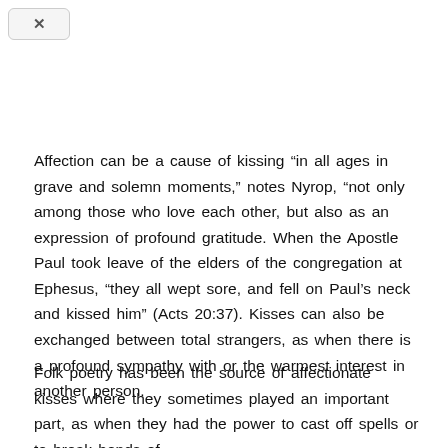[Figure (other): UI close/back button element with X icon and rounded rectangle border in top left corner]
Affection can be a cause of kissing "in all ages in grave and solemn moments," notes Nyrop, "not only among those who love each other, but also as an expression of profound gratitude. When the Apostle Paul took leave of the elders of the congregation at Ephesus, "they all wept sore, and fell on Paul's neck and kissed him" (Acts 20:37). Kisses can also be exchanged between total strangers, as when there is a profound sympathy with or the warmest interest in another person.
Folk poetry has been the source of affectionate kisses where they sometimes played an important part, as when they had the power to cast off spells or to break bonds of